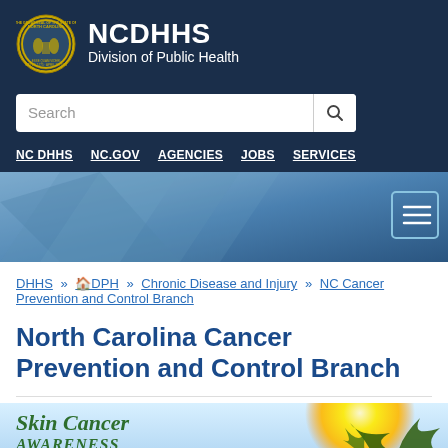[Figure (logo): NC DHHS Division of Public Health header with North Carolina state seal and white text on dark navy background]
Search
NC DHHS | NC.GOV | AGENCIES | JOBS | SERVICES
[Figure (other): Blue geometric hero banner with hamburger menu button on right]
DHHS » 🏠 DPH » Chronic Disease and Injury » NC Cancer Prevention and Control Branch
North Carolina Cancer Prevention and Control Branch
[Figure (photo): Skin Cancer Awareness banner with green italic text, sunny sky background and palm tree]